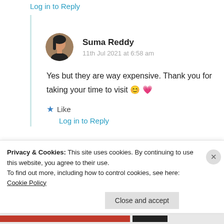Log in to Reply
[Figure (photo): Circular avatar photo of Suma Reddy, a woman with dark hair]
Suma Reddy
11th Jul 2021 at 6:58 am
Yes but they are way expensive. Thank you for taking your time to visit 😊 💗
★ Like
Log in to Reply
Privacy & Cookies: This site uses cookies. By continuing to use this website, you agree to their use.
To find out more, including how to control cookies, see here: Cookie Policy
Close and accept